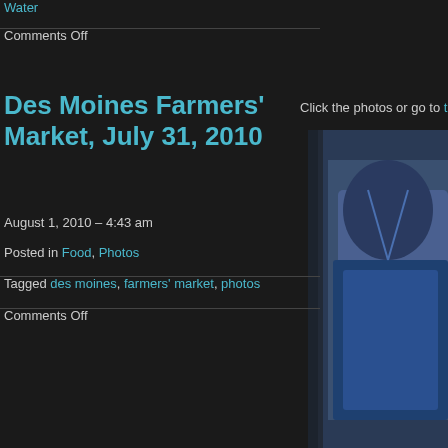Water
Comments Off
Des Moines Farmers' Market, July 31, 2010
Click the photos or go to this set's Flic
[Figure (photo): Partial photo of a person wearing a blue jacket at a farmers market, cropped on the right side of the page]
August 1, 2010 – 4:43 am
Posted in Food, Photos
Tagged des moines, farmers' market, photos
Comments Off